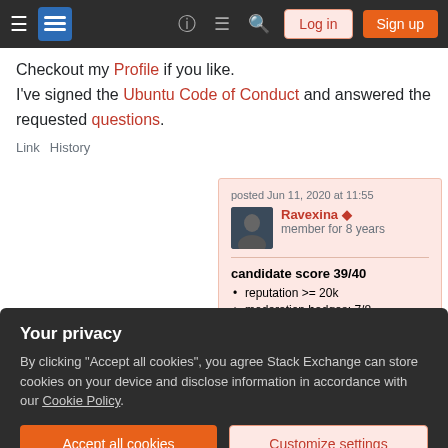Navigation bar with logo, help, chat, search, Log in, Sign up buttons
Checkout my Profile if you like. I've signed the Ubuntu Code of Conduct and answered the requested questions.
Link  History
posted Jun 11, 2020 at 11:55
Ravexina ♦
member for 8 years
candidate score 39/40
• reputation >= 20k
• moderation badges: 7/8
• editing badges: 6/6
• participation badges: 6/6
Your privacy
By clicking "Accept all cookies", you agree Stack Exchange can store cookies on your device and disclose information in accordance with our Cookie Policy.
Accept all cookies   Customize settings
since 1996(Slackware Linux). Worked with other flavors of...